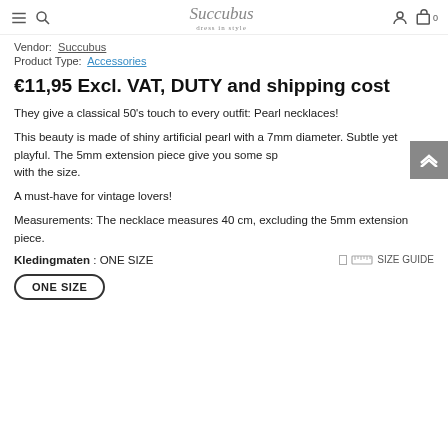Succubus dress in style
Vendor: Succubus
Product Type: Accessories
€11,95 Excl. VAT, DUTY and shipping cost
They give a classical 50's touch to every outfit: Pearl necklaces!
This beauty is made of shiny artificial pearl with a 7mm diameter. Subtle yet playful. The 5mm extension piece give you some space with the size.
A must-have for vintage lovers!
Measurements: The necklace measures 40 cm, excluding the 5mm extension piece.
Kledingmaten : ONE SIZE  SIZE GUIDE
ONE SIZE